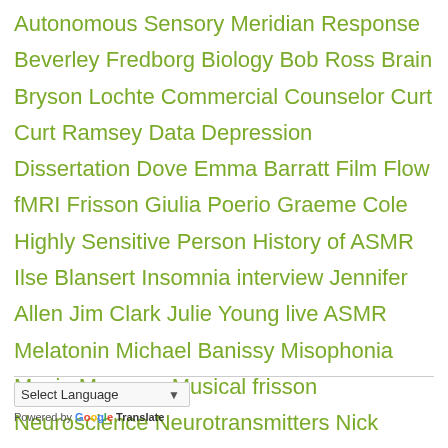Autonomous Sensory Meridian Response Beverley Fredborg Biology Bob Ross Brain Bryson Lochte Commercial Counselor Curt Curt Ramsey Data Depression Dissertation Dove Emma Barratt Film Flow fMRI Frisson Giulia Poerio Graeme Cole Highly Sensitive Person History of ASMR Ilse Blansert Insomnia interview Jennifer Allen Jim Clark Julie Young live ASMR Melatonin Michael Banissy Misophonia Movie Murmurs Musical frisson Neuroscience Neurotransmitters Nick Davis Oxytocin Peer-reviewed PeerJ Personality Podcast Polls Research Science Sleep Spa Stephen Smith Survey Voices of ASMR whispering WhisperingLife WhispersRed
Select Language
Powered by Google Translate